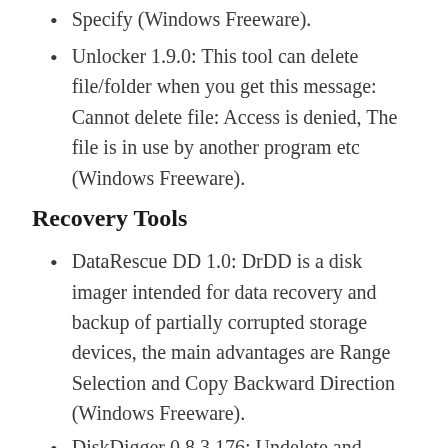Specify (Windows Freeware).
Unlocker 1.9.0: This tool can delete file/folder when you get this message: Cannot delete file: Access is denied, The file is in use by another program etc (Windows Freeware).
Recovery Tools
DataRescue DD 1.0: DrDD is a disk imager intended for data recovery and backup of partially corrupted storage devices, the main advantages are Range Selection and Copy Backward Direction (Windows Freeware).
DiskDigger 0.8.3.176: Undelete and recover lost photos, videos, music, documents and other formats from your hard drive, memory cards and USB flash drives (Windows